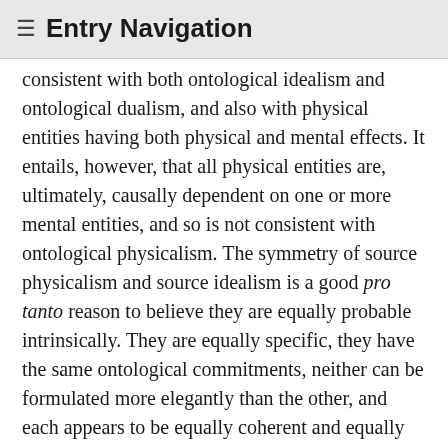≡ Entry Navigation
consistent with both ontological idealism and ontological dualism, and also with physical entities having both physical and mental effects. It entails, however, that all physical entities are, ultimately, causally dependent on one or more mental entities, and so is not consistent with ontological physicalism. The symmetry of source physicalism and source idealism is a good pro tanto reason to believe they are equally probable intrinsically. They are equally specific, they have the same ontological commitments, neither can be formulated more elegantly than the other, and each appears to be equally coherent and equally intelligible. They differ on the issue of what is causally dependent on what, but if Hume is right and causal dependence relations can only be discovered by observation and not a priori, then that won't affect the intrinsic probabilities of the two hypotheses.
Omni-theism, however, is a very specific version of source idealism; it entails that source idealism is true but goes far beyond source idealism by making a number of